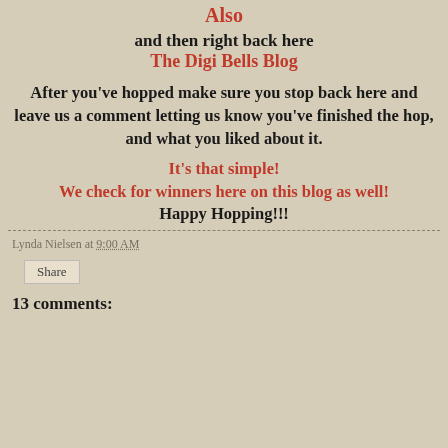and then right back here
The Digi Bells Blog
After you've hopped make sure you stop back here and leave us a comment letting us know you've finished the hop, and what you liked about it.
It's that simple!
We check for winners here on this blog as well!
Happy Hopping!!!
Lynda Nielsen at 9:00 AM
Share
13 comments: